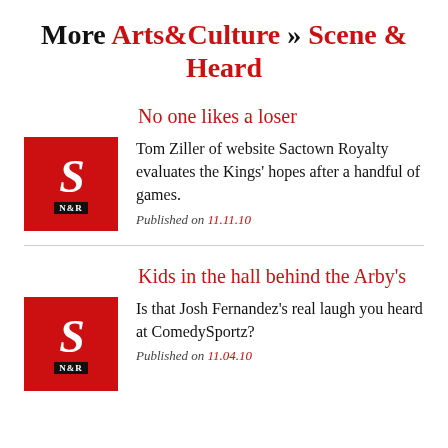More Arts&Culture » Scene & Heard
No one likes a loser
Tom Ziller of website Sactown Royalty evaluates the Kings' hopes after a handful of games.
Published on 11.11.10
Kids in the hall behind the Arby's
Is that Josh Fernandez's real laugh you heard at ComedySportz?
Published on 11.04.10